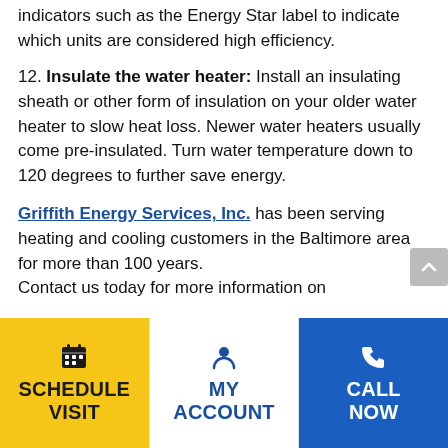indicators such as the Energy Star label to indicate which units are considered high efficiency.
12. Insulate the water heater: Install an insulating sheath or other form of insulation on your older water heater to slow heat loss. Newer water heaters usually come pre-insulated. Turn water temperature down to 120 degrees to further save energy.
Griffith Energy Services, Inc. has been serving heating and cooling customers in the Baltimore area for more than 100 years. Contact us today for more information on
[Figure (other): Footer navigation bar with three buttons: Schedule Visit (yellow), My Account (white), Call Now (blue)]